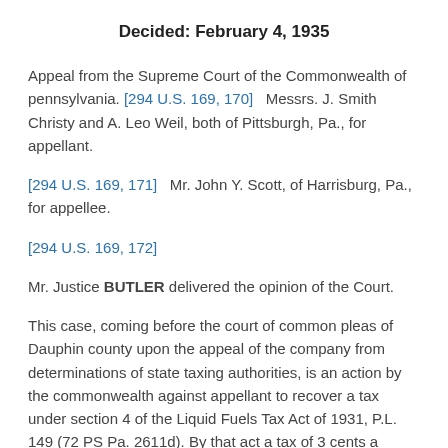Decided: February 4, 1935
Appeal from the Supreme Court of the Commonwealth of pennsylvania. [294 U.S. 169, 170]   Messrs. J. Smith Christy and A. Leo Weil, both of Pittsburgh, Pa., for appellant.
[294 U.S. 169, 171]   Mr. John Y. Scott, of Harrisburg, Pa., for appellee.
[294 U.S. 169, 172]
Mr. Justice BUTLER delivered the opinion of the Court.
This case, coming before the court of common pleas of Dauphin county upon the appeal of the company from determinations of state taxing authorities, is an action by the commonwealth against appellant to recover a tax under section 4 of the Liquid Fuels Tax Act of 1931, P.L. 149 (72 PS Pa. 2611d). By that act a tax of 3 cents a gallon is imposed